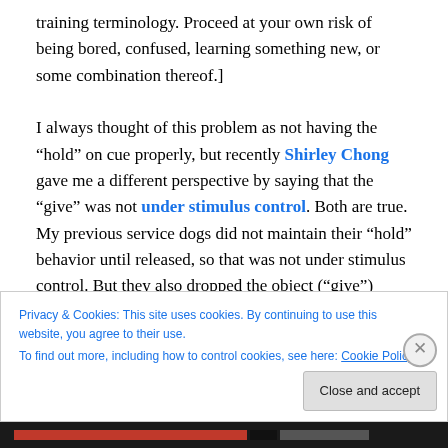training terminology. Proceed at your own risk of being bored, confused, learning something new, or some combination thereof.]

I always thought of this problem as not having the “hold” on cue properly, but recently Shirley Chong gave me a different perspective by saying that the “give” was not under stimulus control. Both are true. My previous service dogs did not maintain their “hold” behavior until released, so that was not under stimulus control. But they also dropped the object (“give”) before I asked for it — in
Privacy & Cookies: This site uses cookies. By continuing to use this website, you agree to their use.
To find out more, including how to control cookies, see here: Cookie Policy
Close and accept